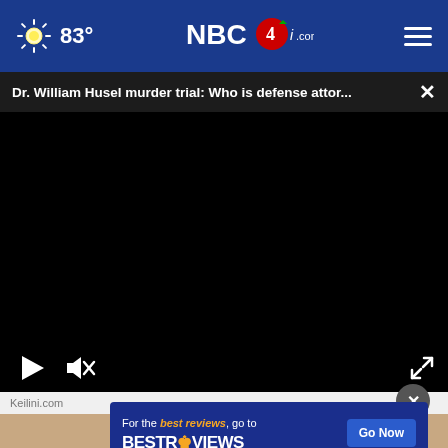83° NBC4i.com
Dr. William Husel murder trial: Who is defense attor... ×
[Figure (screenshot): Black video player with play button, mute button, and fullscreen expand icon]
Keilini.com
[Figure (infographic): Advertisement banner: For the best reviews, go to BESTREVIEWS with Go Now button]